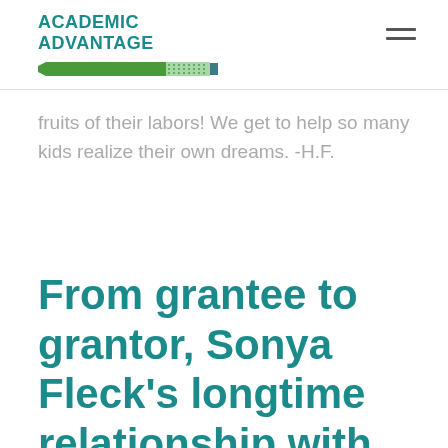ACADEMIC ADVANTAGE
fruits of their labors! We get to help so many kids realize their own dreams. -H.F.
From grantee to grantor, Sonya Fleck’s longtime relationship with